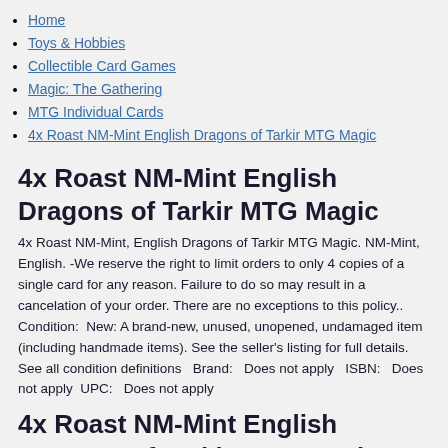Home
Toys & Hobbies
Collectible Card Games
Magic: The Gathering
MTG Individual Cards
4x Roast NM-Mint English Dragons of Tarkir MTG Magic
4x Roast NM-Mint English Dragons of Tarkir MTG Magic
4x Roast NM-Mint, English Dragons of Tarkir MTG Magic. NM-Mint, English. -We reserve the right to limit orders to only 4 copies of a single card for any reason. Failure to do so may result in a cancelation of your order. There are no exceptions to this policy.. Condition:  New: A brand-new, unused, unopened, undamaged item (including handmade items). See the seller's listing for full details. See all condition definitions   Brand:   Does not apply   ISBN:   Does not apply  UPC:   Does not apply
4x Roast NM-Mint English Dragons of Tarkir MTG Magic